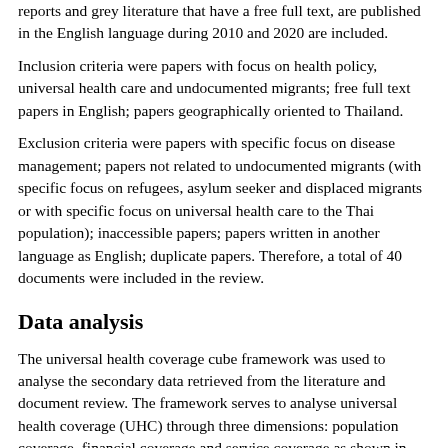reports and grey literature that have a free full text, are published in the English language during 2010 and 2020 are included.
Inclusion criteria were papers with focus on health policy, universal health care and undocumented migrants; free full text papers in English; papers geographically oriented to Thailand.
Exclusion criteria were papers with specific focus on disease management; papers not related to undocumented migrants (with specific focus on refugees, asylum seeker and displaced migrants or with specific focus on universal health care to the Thai population); inaccessible papers; papers written in another language as English; duplicate papers. Therefore, a total of 40 documents were included in the review.
Data analysis
The universal health coverage cube framework was used to analyse the secondary data retrieved from the literature and document review. The framework serves to analyse universal health coverage (UHC) through three dimensions: population coverage, financial coverage and service coverage as shown in Figure 1. Each dimension of the UHC cube will be described in detail. The population coverage entails the proportion of the population that